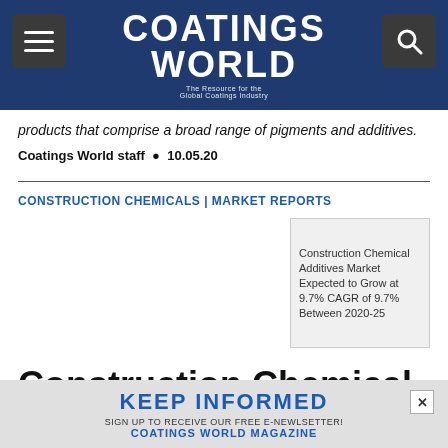Coatings World — The Resource for the Global Coatings Industry
products that comprise a broad range of pigments and additives.
Coatings World staff • 10.05.20
CONSTRUCTION CHEMICALS | MARKET REPORTS
[Figure (photo): Construction Chemical Additives Market Expected to Grow at 9.7% CAGR of 9.7% Between 2020-25]
Construction Chemical
KEEP INFORMED
SIGN UP TO RECEIVE OUR FREE E-NEWLSETTER!
COATINGS WORLD MAGAZINE